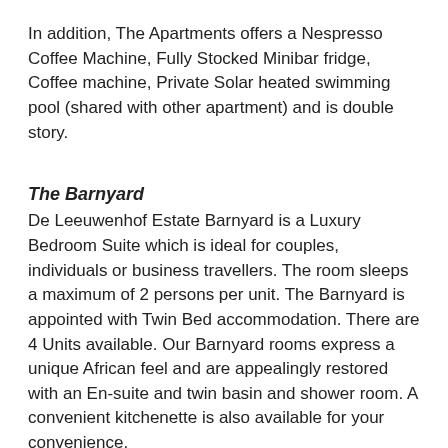In addition, The Apartments offers a Nespresso Coffee Machine, Fully Stocked Minibar fridge, Coffee machine, Private Solar heated swimming pool (shared with other apartment) and is double story.
The Barnyard
De Leeuwenhof Estate Barnyard is a Luxury Bedroom Suite which is ideal for couples, individuals or business travellers. The room sleeps a maximum of 2 persons per unit. The Barnyard is appointed with Twin Bed accommodation. There are 4 Units available. Our Barnyard rooms express a unique African feel and are appealingly restored with an En-suite and twin basin and shower room. A convenient kitchenette is also available for your convenience.
In addition, The Barnyard offers underfloor heating in bathroom and a fully Stocked Minibar fridge.